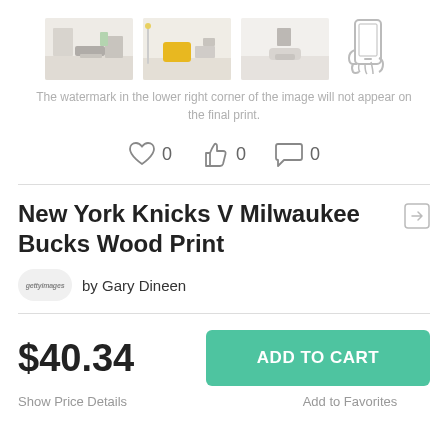[Figure (photo): Four thumbnail images: three room mockup previews (living rooms with the artwork on wall) and one phone mockup icon]
The watermark in the lower right corner of the image will not appear on the final print.
[Figure (infographic): Social interaction icons row: heart icon with 0, thumbs up icon with 0, comment bubble icon with 0]
New York Knicks V Milwaukee Bucks Wood Print
by Gary Dineen
$40.34
ADD TO CART
Show Price Details
Add to Favorites